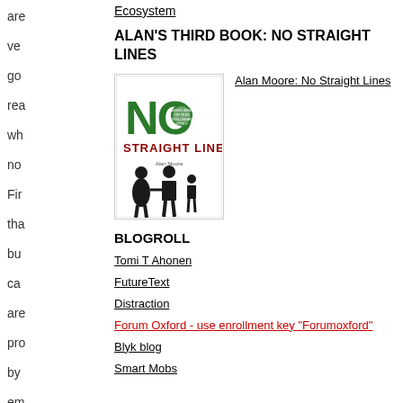Ecosystem
ALAN'S THIRD BOOK: NO STRAIGHT LINES
[Figure (illustration): Book cover of 'No Straight Lines' by Alan Moore. Large green 'NO' letters with a circular badge, red 'STRAIGHT LINES' text, and black silhouettes of a family (woman, man, child).]
Alan Moore: No Straight Lines
BLOGROLL
Tomi T Ahonen
FutureText
Distraction
Forum Oxford - use enrollment key "Forumoxford"
Blyk blog
Smart Mobs